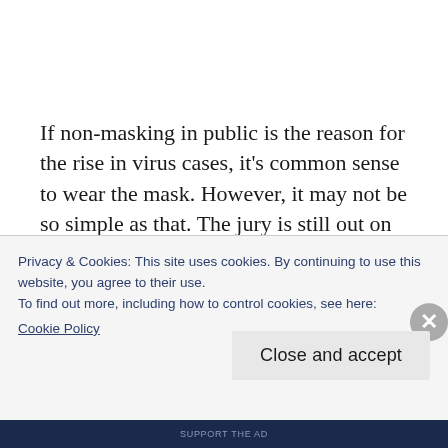If non-masking in public is the reason for the rise in virus cases, it's common sense to wear the mask. However, it may not be so simple as that. The jury is still out on whether masking in public can help reduce the number of virus cases.
Privacy & Cookies: This site uses cookies. By continuing to use this website, you agree to their use.
To find out more, including how to control cookies, see here:
Cookie Policy
Close and accept